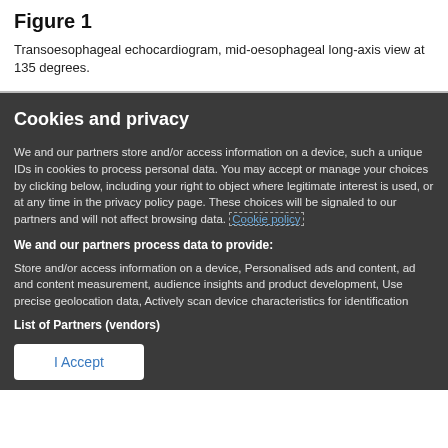Figure 1
Transoesophageal echocardiogram, mid-oesophageal long-axis view at 135 degrees.
Cookies and privacy
We and our partners store and/or access information on a device, such a unique IDs in cookies to process personal data. You may accept or manage your choices by clicking below, including your right to object where legitimate interest is used, or at any time in the privacy policy page. These choices will be signaled to our partners and will not affect browsing data. Cookie policy
We and our partners process data to provide:
Store and/or access information on a device, Personalised ads and content, ad and content measurement, audience insights and product development, Use precise geolocation data, Actively scan device characteristics for identification
List of Partners (vendors)
I Accept